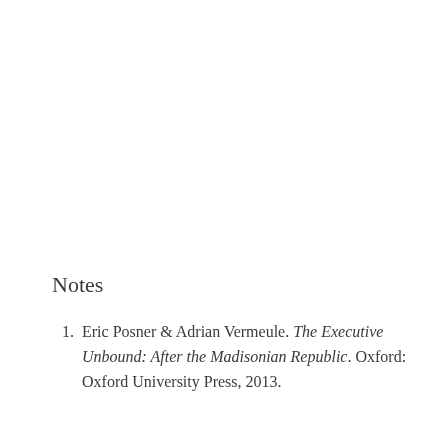Notes
Eric Posner & Adrian Vermeule. The Executive Unbound: After the Madisonian Republic. Oxford: Oxford University Press, 2013.